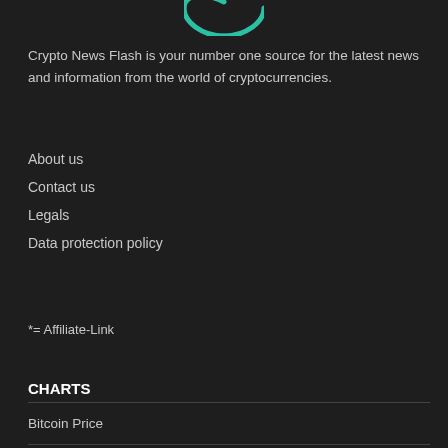[Figure (logo): Crypto News Flash logo — teal circular arrow icon, partially cropped at top]
Crypto News Flash is your number one source for the latest news and information from the world of cryptocurrencies.
About us
Contact us
Legals
Data protection policy
*= Affiliate-Link
CHARTS
Bitcoin Price
Ethereum Price
XRP Price